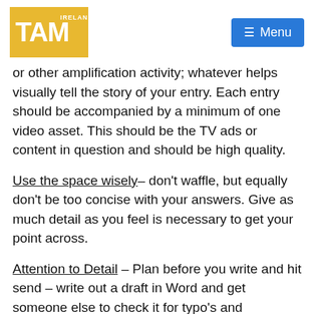[Figure (logo): TAM Ireland logo — bold white TAM text with IRELAND label on golden/yellow background square]
or other amplification activity; whatever helps visually tell the story of your entry. Each entry should be accompanied by a minimum of one video asset. This should be the TV ads or content in question and should be high quality.
Use the space wisely– don't waffle, but equally don't be too concise with your answers. Give as much detail as you feel is necessary to get your point across.
Attention to Detail – Plan before you write and hit send – write out a draft in Word and get someone else to check it for typo's and grammatical errors. We're not looking for Shakespeare but equally your entry is reflective on you and your business